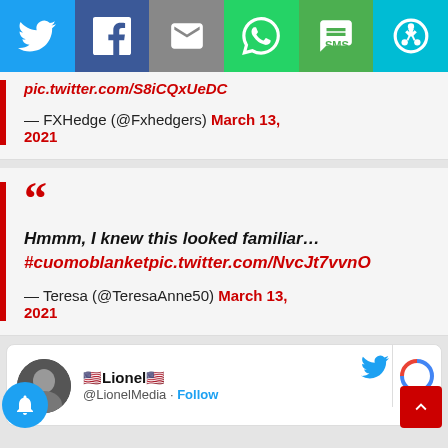[Figure (screenshot): Social media share bar with Twitter, Facebook, Email, WhatsApp, SMS, and other share buttons]
pic.twitter.com/S8iCQxUeDC
— FXHedge (@Fxhedgers) March 13, 2021
Hmmm, I knew this looked familiar… #cuomoblanketpic.twitter.com/NvcJt7vvnO
— Teresa (@TeresaAnne50) March 13, 2021
🇺🇸Lionel🇺🇸 @LionelMedia · Follow